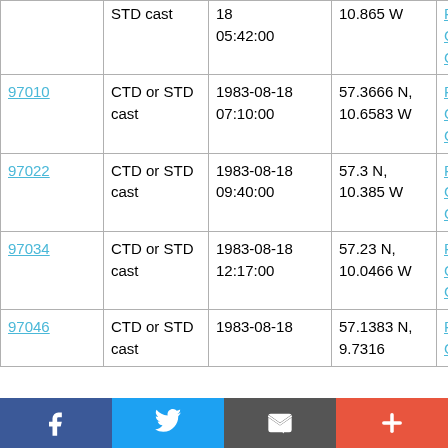| ID | Type | Date/Time | Location | Cruise |
| --- | --- | --- | --- | --- |
|  | STD cast | 18
05:42:00 | 10.865 W | RRS Challenger CH11/83 |
| 97010 | CTD or STD cast | 1983-08-18
07:10:00 | 57.3666 N, 10.6583 W | RRS Challenger CH11/83 |
| 97022 | CTD or STD cast | 1983-08-18
09:40:00 | 57.3 N, 10.385 W | RRS Challenger CH11/83 |
| 97034 | CTD or STD cast | 1983-08-18 12:17:00 | 57.23 N, 10.0466 W | RRS Challenger CH11/83 |
| 97046 | CTD or STD cast | 1983-08-18 | 57.1383 N, 9.7316 | RRS Challenger |